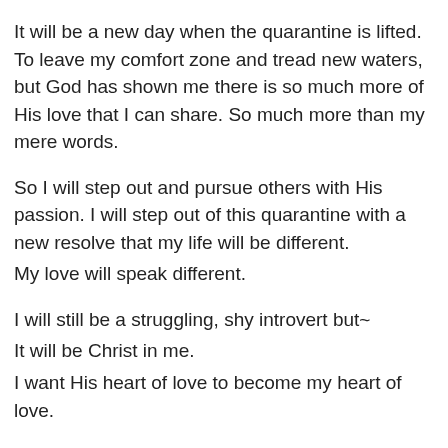It will be a new day when the quarantine is lifted. To leave my comfort zone and tread new waters, but God has shown me there is so much more of His love that I can share. So much more than my mere words.
So I will step out and pursue others with His passion. I will step out of this quarantine with a new resolve that my life will be different.
My love will speak different.
I will still be a struggling, shy introvert but~
It will be Christ in me.
I want His heart of love to become my heart of love.
Do you feel God telling you that you can do more?
Maybe the past 70? days have been far from your comfort zone, and you long to be outside those doors. Maybe you are the opposite of me, you long to be with